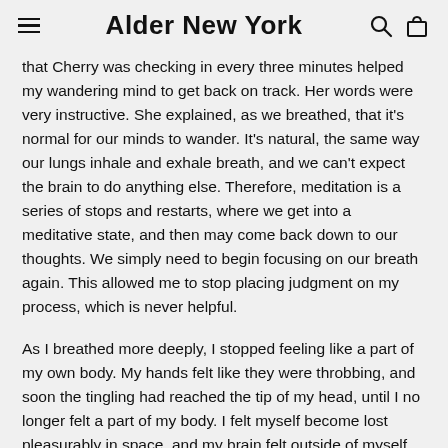Alder New York
that Cherry was checking in every three minutes helped my wandering mind to get back on track. Her words were very instructive. She explained, as we breathed, that it's normal for our minds to wander. It's natural, the same way our lungs inhale and exhale breath, and we can't expect the brain to do anything else. Therefore, meditation is a series of stops and restarts, where we get into a meditative state, and then may come back down to our thoughts. We simply need to begin focusing on our breath again. This allowed me to stop placing judgment on my process, which is never helpful.
As I breathed more deeply, I stopped feeling like a part of my own body. My hands felt like they were throbbing, and soon the tingling had reached the tip of my head, until I no longer felt a part of my body. I felt myself become lost pleasurably in space, and my brain felt outside of myself, part of a larger world.